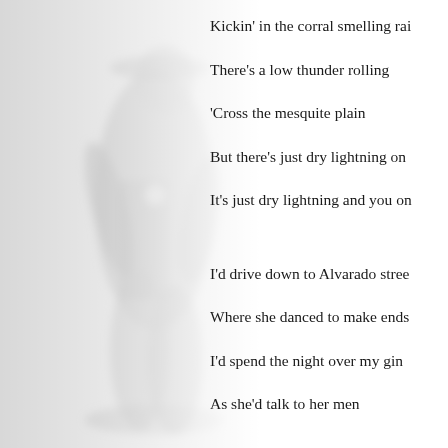[Figure (photo): Blurred grayscale background image of a cowboy or western figure, occupying the left half of the page]
Kickin' in the corral smelling rai
There's a low thunder rolling
'Cross the mesquite plain
But there's just dry lightning on
It's just dry lightning and you on
I'd drive down to Alvarado stree
Where she danced to make ends
I'd spend the night over my gin
As she'd talk to her men